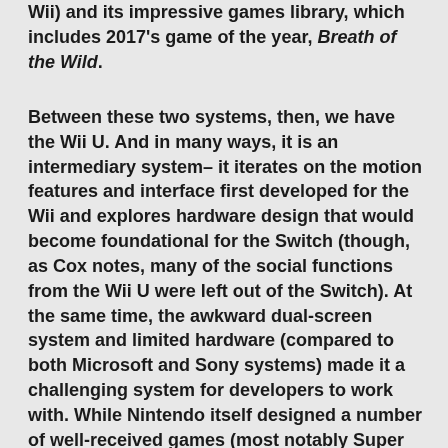Wii) and its impressive games library, which includes 2017's game of the year, Breath of the Wild.
Between these two systems, then, we have the Wii U. And in many ways, it is an intermediary system– it iterates on the motion features and interface first developed for the Wii and explores hardware design that would become foundational for the Switch (though, as Cox notes, many of the social functions from the Wii U were left out of the Switch). At the same time, the awkward dual-screen system and limited hardware (compared to both Microsoft and Sony systems) made it a challenging system for developers to work with. While Nintendo itself designed a number of well-received games (most notably Super Mario 3D World), many developers either refused to design for the system or limited their output on the WiiU.